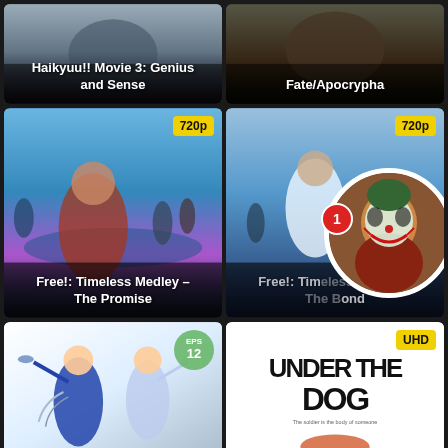[Figure (screenshot): Anime thumbnail card for Haikyuu!! Movie 3: Genius and Sense with dark gradient background]
Haikyuu!! Movie 3: Genius and Sense
[Figure (screenshot): Anime thumbnail card for Fate/Apocrypha with dark background]
Fate/Apocrypha
[Figure (screenshot): Anime thumbnail card for Free!: Timeless Medley – The Promise with 720p badge, blue water background with shirtless anime character]
Free!: Timeless Medley – The Promise
[Figure (screenshot): Anime thumbnail card for Free!: Timeless Medley – The Bond with 720p badge and notification badge showing 1, with Joker movie character circle overlay]
Free!: Timeless Medley – The Bond
[Figure (screenshot): Anime thumbnail card with EPS 12 badge showing action anime characters on white/light background]
[Figure (screenshot): Under the Dog title on white background with UHD badge, bold black stylized text]